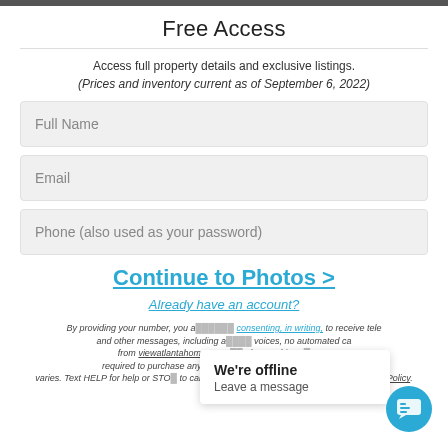Free Access
Access full property details and exclusive listings.
(Prices and inventory current as of September 6, 2022)
Full Name
Email
Phone (also used as your password)
Continue to Photos >
Already have an account?
We're offline
Leave a message
By providing your number, you a... consenting, in writing, to receive tele... and other messages, including a... voices, no automated ca... from viewatlantahomes.com ... above. This conse... required to purchase any goo... data rates may apply, free... varies. Text HELP for help or STO... to cancel. More details in Terms of Use and Privacy Policy.